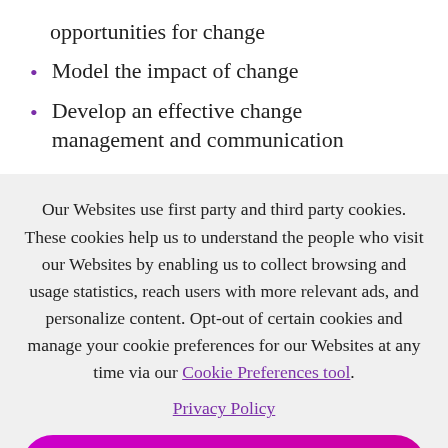opportunities for change
Model the impact of change
Develop an effective change management and communication
Our Websites use first party and third party cookies. These cookies help us to understand the people who visit our Websites by enabling us to collect browsing and usage statistics, reach users with more relevant ads, and personalize content. Opt-out of certain cookies and manage your cookie preferences for our Websites at any time via our Cookie Preferences tool.
Privacy Policy
OK